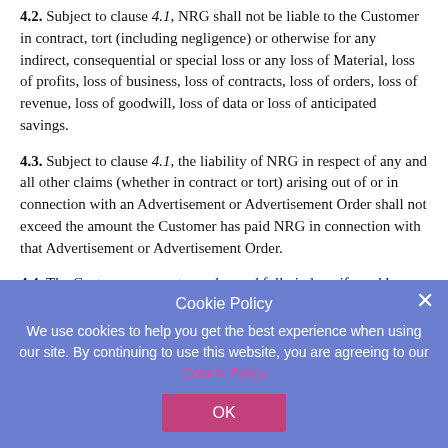4.2. Subject to clause 4.1, NRG shall not be liable to the Customer in contract, tort (including negligence) or otherwise for any indirect, consequential or special loss or any loss of Material, loss of profits, loss of business, loss of contracts, loss of orders, loss of revenue, loss of goodwill, loss of data or loss of anticipated savings.
4.3. Subject to clause 4.1, the liability of NRG in respect of any and all other claims (whether in contract or tort) arising out of or in connection with an Advertisement or Advertisement Order shall not exceed the amount the Customer has paid NRG in connection with that Advertisement or Advertisement Order.
4.4. The Customer agrees to on demand fully indemnify and keep fully indemnified NRG, its directors, agents and employees against any and all losses, liabilities, costs, claims, damages, demands, expenses and fees (including but without limitation legal and other professional fees) suffered or incurred by NRG arising out of or in connection with:
[Figure (screenshot): Cookie policy overlay banner with blue/purple background. Title: 'Cookie Policy'. Body: 'We use cookies to help you get the best experience when using our site. By continuing to use this website, you are agreeing to our Cookie Policy'. Pink OK button. White X close button top right.]